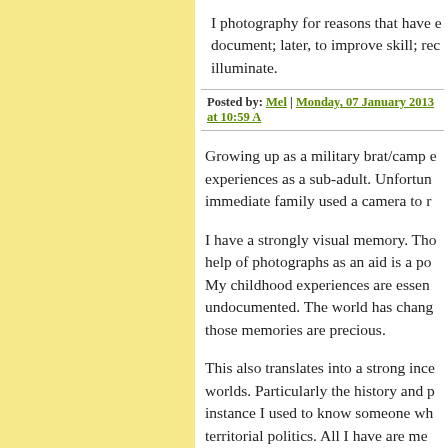I photography for reasons that have document; later, to improve skill; rec illuminate.
Posted by: Mel | Monday, 07 January 2013 at 10:59 AM
Growing up as a military brat/camp experiences as a sub-adult. Unfortun immediate family used a camera to r
I have a strongly visual memory. Tho help of photographs as an aid is a po My childhood experiences are essen undocumented. The world has chang those memories are precious.
This also translates into a strong ince worlds. Particularly the history and p instance I used to know someone wh territorial politics. All I have are men